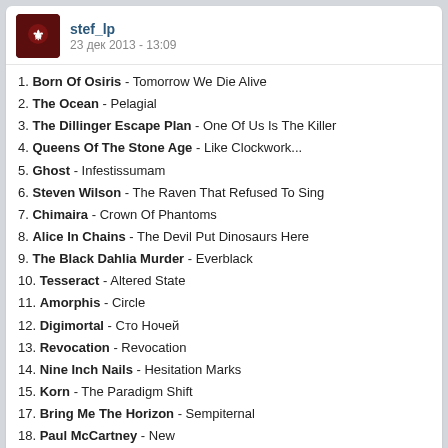stef_lp
23 дек 2013 - 13:09
1. Born Of Osiris - Tomorrow We Die Alive
2. The Ocean - Pelagial
3. The Dillinger Escape Plan - One Of Us Is The Killer
4. Queens Of The Stone Age - Like Clockwork...
5. Ghost - Infestissumam
6. Steven Wilson - The Raven That Refused To Sing
7. Chimaira - Crown Of Phantoms
8. Alice In Chains - The Devil Put Dinosaurs Here
9. The Black Dahlia Murder - Everblack
10. Tesseract - Altered State
11. Amorphis - Circle
12. Digimortal - Сто Ночей
13. Revocation - Revocation
14. Nine Inch Nails - Hesitation Marks
15. Korn - The Paradigm Shift
17. Bring Me The Horizon - Sempiternal
18. Paul McCartney - New
Earl Of Black
23 дек 2013 - 14:42